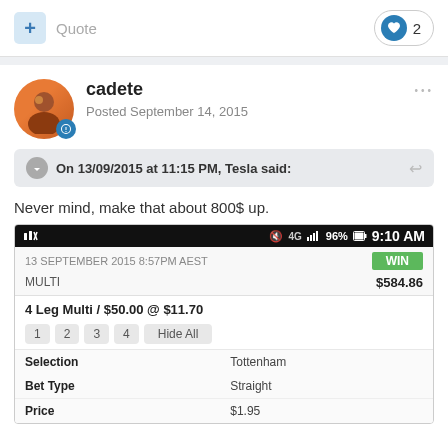+ Quote  ♥ 2
cadete
Posted September 14, 2015
On 13/09/2015 at 11:15 PM, Tesla said:
Never mind, make that about 800$ up.
[Figure (screenshot): Mobile betting app screenshot showing: status bar with 9:10 AM, 96% battery, 4G signal. Bet slip: 13 SEPTEMBER 2015 8:57PM AEST, WIN badge, MULTI $584.86, 4 Leg Multi / $50.00 @ $11.70, buttons 1 2 3 4 Hide All, table with Selection: Tottenham, Bet Type: Straight, Price: $1.95]